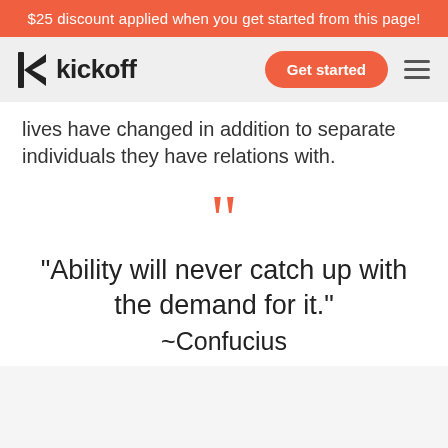$25 discount applied when you get started from this page!
[Figure (logo): Kickoff logo with stylized K icon and 'kickoff' text, plus a Get started button and hamburger menu]
lives have changed in addition to separate individuals they have relations with.
“Ability will never catch up with the demand for it.” ~Confucius